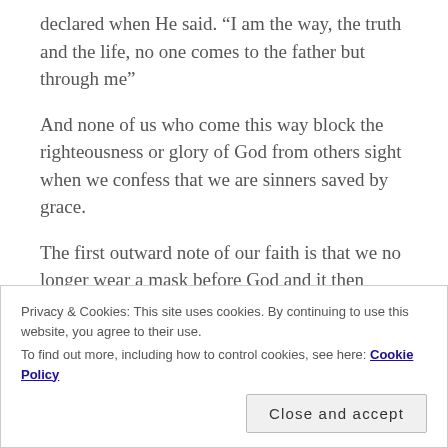declared when He said.  “I am the way, the truth and the life, no one comes to the father but through me”
And none of us who come this way block the righteousness or glory of God from others sight when we confess that we are sinners saved by grace.
The first outward note of our faith is that we no longer wear a mask before God and it then follows (sometimes slowly) that we no longer wear a mask before men.
The Gospel of Jesus Christ is Glorious precisely because God Himself is Glorious.
Privacy & Cookies: This site uses cookies. By continuing to use this website, you agree to their use.
To find out more, including how to control cookies, see here: Cookie Policy
He is my light, my strength, my song;